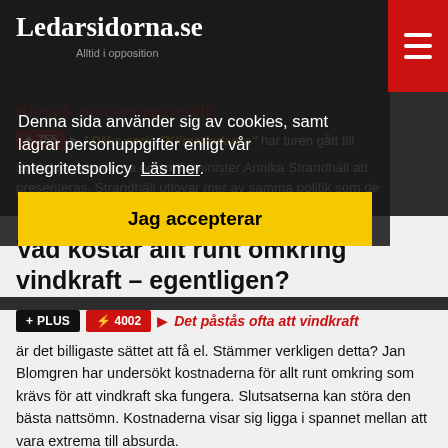Ledarsidorna.se — Alltid i opposition
Denna sida använder sig av cookies, samt lagrar personuppgifter enligt vår integritetspolicy. Läs mer.
Jag accepterar
Vad kostar allt runt omkring vindkraft – egentligen?
+ PLUS ⚡ 4002 ▶ Det påstås ofta att vindkraft är det billigaste sättet att få el. Stämmer verkligen detta? Jan Blomgren har undersökt kostnaderna för allt runt omkring som krävs för att vindkraft ska fungera. Slutsatserna kan störa den bästa nattsömn. Kostnaderna visar sig ligga i spannet mellan att vara extrema till absurda.